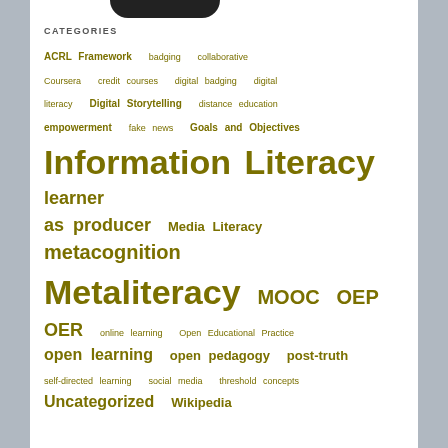CATEGORIES
ACRL Framework  badging  collaborative  Coursera  credit courses  digital badging  digital literacy  Digital Storytelling  distance education  empowerment  fake news  Goals and Objectives  Information Literacy  learner as producer  Media Literacy  metacognition  Metaliteracy  MOOC  OEP  OER  online learning  Open Educational Practice  open learning  open pedagogy  post-truth  self-directed learning  social media  threshold concepts  Uncategorized  Wikipedia